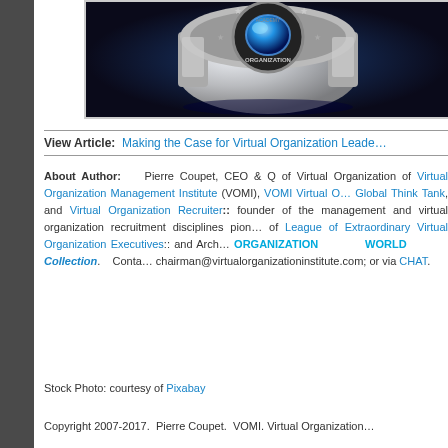[Figure (photo): A decorative championship-style ring with blue gemstone and text reading ORGANIZATION ACADEMY on a dark background]
View Article:  Making the Case for Virtual Organization Leade...
About Author:   Pierre Coupet, CEO & Q of Virtual Organization of Virtual Organization Management Institute (VOMI), VOMI Virtual O... Global Think Tank, and Virtual Organization Recruiter:: founder of the management and virtual organization recruitment disciplines pione... of League of Extraordinary Virtual Organization Executives:: and Arch... ORGANIZATION WORLD Collection. Conta... chairman@virtualorganizationinstitute.com; or via CHAT.
Stock Photo: courtesy of Pixabay
Copyright 2007-2017. Pierre Coupet. VOMI. Virtual Organization...